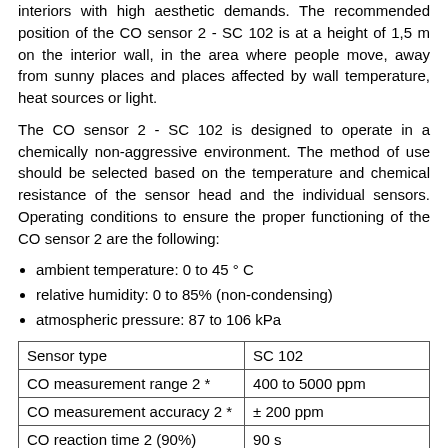interiors with high aesthetic demands. The recommended position of the CO sensor 2 - SC 102 is at a height of 1,5 m on the interior wall, in the area where people move, away from sunny places and places affected by wall temperature, heat sources or light.
The CO sensor 2 - SC 102 is designed to operate in a chemically non-aggressive environment. The method of use should be selected based on the temperature and chemical resistance of the sensor head and the individual sensors. Operating conditions to ensure the proper functioning of the CO sensor 2 are the following:
ambient temperature: 0 to 45 ° C
relative humidity: 0 to 85% (non-condensing)
atmospheric pressure: 87 to 106 kPa
| Sensor type | SC 102 |
| --- | --- |
| CO measurement range 2 * | 400 to 5000 ppm |
| CO measurement accuracy 2 * | ± 200 ppm |
| CO reaction time 2 (90%) | 90 s |
| Output signal | RS485 / MODBUS RTU |